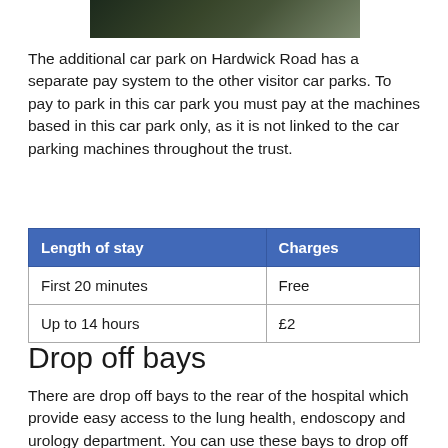[Figure (photo): Partial photograph cropped at top, showing dark outdoor scene possibly trees or a car park area]
The additional car park on Hardwick Road has a separate pay system to the other visitor car parks. To pay to park in this car park you must pay at the machines based in this car park only, as it is not linked to the car parking machines throughout the trust.
| Length of stay | Charges |
| --- | --- |
| First 20 minutes | Free |
| Up to 14 hours | £2 |
Drop off bays
There are drop off bays to the rear of the hospital which provide easy access to the lung health, endoscopy and urology department. You can use these bays to drop off patients who may struggle to walk